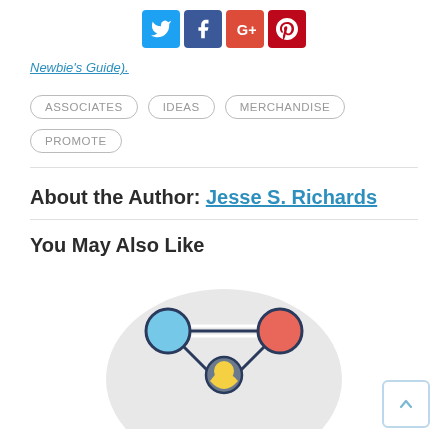[Figure (infographic): Social sharing icons: Twitter (blue), Facebook (dark blue), Google+ (red), Pinterest (dark red)]
Newbie's Guide).
ASSOCIATES  IDEAS  MERCHANDISE  PROMOTE
About the Author: Jesse S. Richards
You May Also Like
[Figure (illustration): Network/affiliate marketing diagram with colored nodes (blue, red, gray center with yellow hair) connected by lines, on a gray circular background]
[Figure (other): Back to top button with upward arrow]